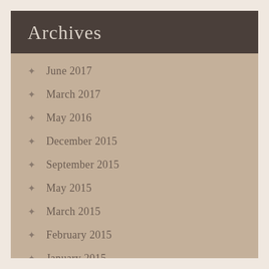Archives
June 2017
March 2017
May 2016
December 2015
September 2015
May 2015
March 2015
February 2015
January 2015